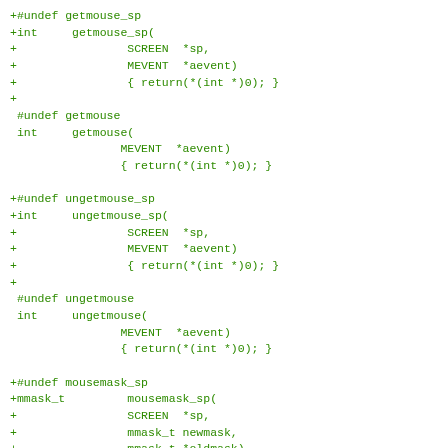+#undef getmouse_sp
+int     getmouse_sp(
+                SCREEN  *sp,
+                MEVENT  *aevent)
+                { return(*(int *)0); }
+
 #undef getmouse
 int     getmouse(
                MEVENT  *aevent)
                { return(*(int *)0); }

+#undef ungetmouse_sp
+int     ungetmouse_sp(
+                SCREEN  *sp,
+                MEVENT  *aevent)
+                { return(*(int *)0); }
+
 #undef ungetmouse
 int     ungetmouse(
                MEVENT  *aevent)
                { return(*(int *)0); }

+#undef mousemask_sp
+mmask_t         mousemask_sp(
+                SCREEN  *sp,
+                mmask_t newmask,
+                mmask_t *oldmask)
+                { return(*(mmask_t *)0); }
+
 #undef mousemask
 mmask_t         mousemask(
                mmask_t newmask,